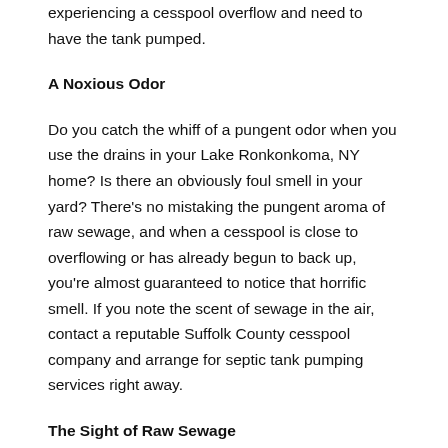experiencing a cesspool overflow and need to have the tank pumped.
A Noxious Odor
Do you catch the whiff of a pungent odor when you use the drains in your Lake Ronkonkoma, NY home? Is there an obviously foul smell in your yard? There's no mistaking the pungent aroma of raw sewage, and when a cesspool is close to overflowing or has already begun to back up, you're almost guaranteed to notice that horrific smell. If you note the scent of sewage in the air, contact a reputable Suffolk County cesspool company and arrange for septic tank pumping services right away.
The Sight of Raw Sewage
While none of the side effects that are associated with a full or overflowing are appealing, there's one that tops the list of grossness: the sight of raw sewage. When a septic tank is full,